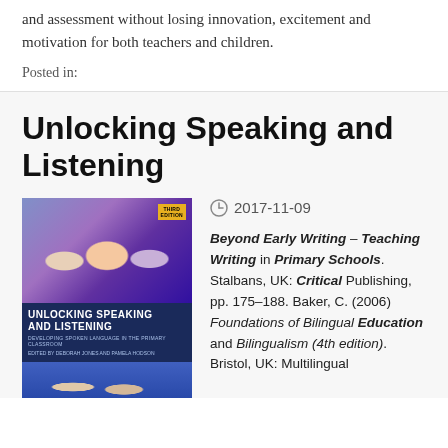and assessment without losing innovation, excitement and motivation for both teachers and children.
Posted in:
Unlocking Speaking and Listening
[Figure (photo): Book cover of 'Unlocking Speaking and Listening' Third Edition, edited by Deborah Jones and Pamela Hodson, showing children engaged in classroom activities]
2017-11-09
Beyond Early Writing – Teaching Writing in Primary Schools. Stalbans, UK: Critical Publishing, pp. 175–188. Baker, C. (2006) Foundations of Bilingual Education and Bilingualism (4th edition). Bristol, UK: Multilingual